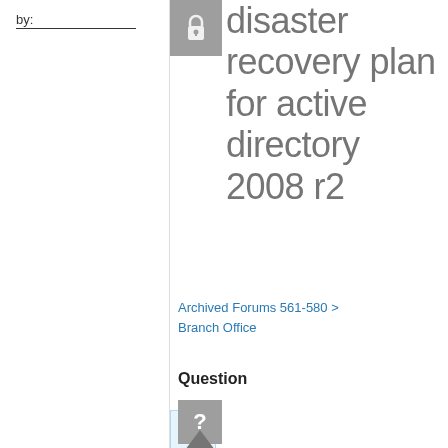by:
disaster recovery plan for active directory 2008 r2
[Figure (logo): RSS feed icon - blue wifi/rss symbol on light blue background]
Archived Forums 561-580 > Branch Office
Question
[Figure (other): Grey question mark icon box]
[Figure (other): Grey upward triangle/arrow]